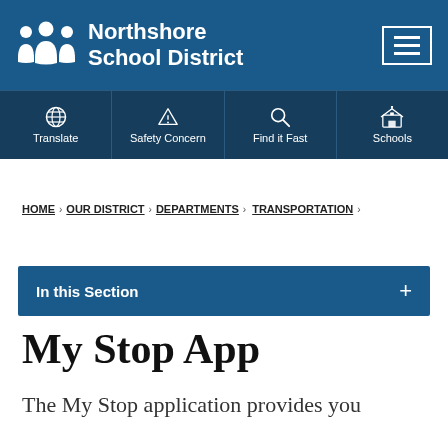[Figure (logo): Northshore School District logo with white figures icon and text 'Northshore School District' on blue header background with hamburger menu icon]
[Figure (screenshot): Navigation bar with four items: Translate (globe icon), Safety Concern (warning triangle icon), Find it Fast (magnifying glass icon), Schools (school building icon)]
HOME > OUR DISTRICT > DEPARTMENTS > TRANSPORTATION >
In this Section +
My Stop App
The My Stop application provides you